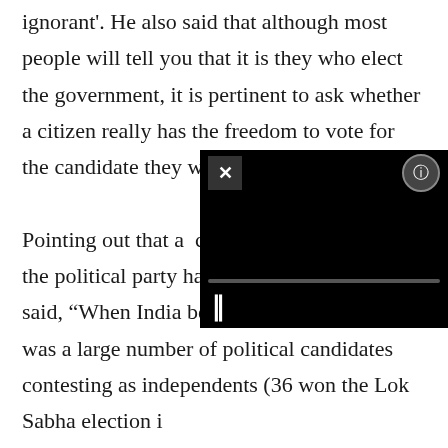ignorant'. He also said that although most people will tell you that it is they who elect the government, it is pertinent to ask whether a citizen really has the freedom to vote for the candidate they want.

Pointing out that a  candidate is the one who the political party has selected, Prof Chokkar said, “When India became independent, there was a large number of political candidates contesting as independents (36 won the Lok Sabha election i... the last election has reduced ... you contributing to a healthy... candidate...'s being is constrained by the...
[Figure (screenshot): A video player overlay with black background, showing a close (X) button on the top left, a settings/info button on the top right, a progress bar, and a pause (II) button at the bottom left.]